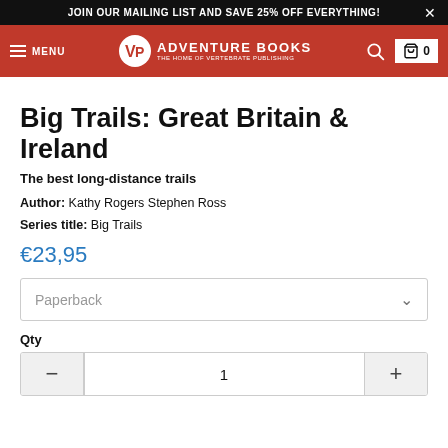JOIN OUR MAILING LIST AND SAVE 25% OFF EVERYTHING!
[Figure (logo): Adventure Books / Vertebrate Publishing logo with VP monogram on red navigation bar]
Big Trails: Great Britain & Ireland
The best long-distance trails
Author: Kathy Rogers Stephen Ross
Series title: Big Trails
€23,95
Paperback
Qty
1